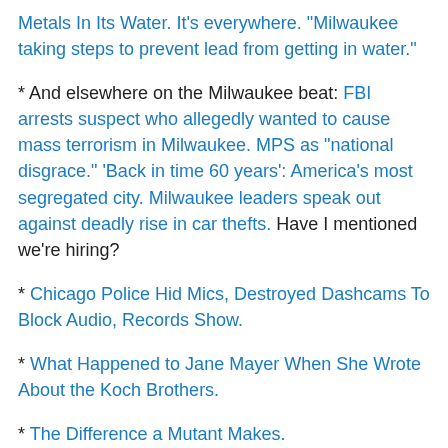Metals In Its Water. It's everywhere. “Milwaukee taking steps to prevent lead from getting in water.”
* And elsewhere on the Milwaukee beat: FBI arrests suspect who allegedly wanted to cause mass terrorism in Milwaukee. MPS as “national disgrace.” ‘Back in time 60 years’: America’s most segregated city. Milwaukee leaders speak out against deadly rise in car thefts. Have I mentioned we’re hiring?
* Chicago Police Hid Mics, Destroyed Dashcams To Block Audio, Records Show.
* What Happened to Jane Mayer When She Wrote About the Koch Brothers.
* The Difference a Mutant Makes.